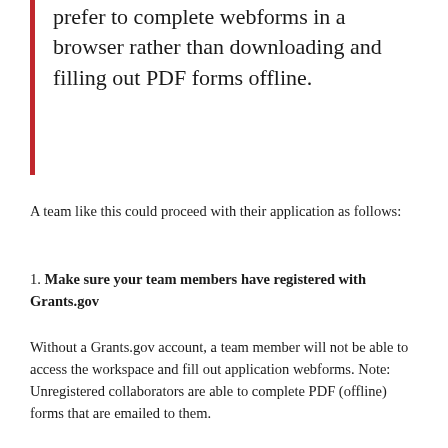prefer to complete webforms in a browser rather than downloading and filling out PDF forms offline.
A team like this could proceed with their application as follows:
1. Make sure your team members have registered with Grants.gov
Without a Grants.gov account, a team member will not be able to access the workspace and fill out application webforms. Note: Unregistered collaborators are able to complete PDF (offline) forms that are emailed to them.